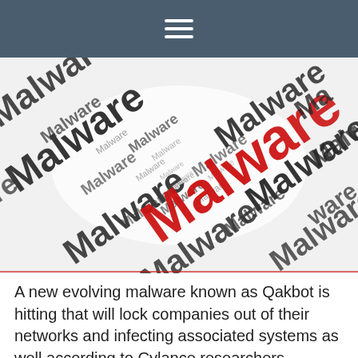≡
[Figure (illustration): Word cloud image featuring the word 'Malware' repeated many times in various sizes and orientations on a white background. The central large text reads 'Malware' in bold red, surrounded by the same word in black at various angles and sizes, with a blurred depth-of-field effect.]
A new evolving malware known as Qakbot is hitting that will lock companies out of their networks and infecting associated systems as well according to Cylance researchers. Michael Patterson, CEO